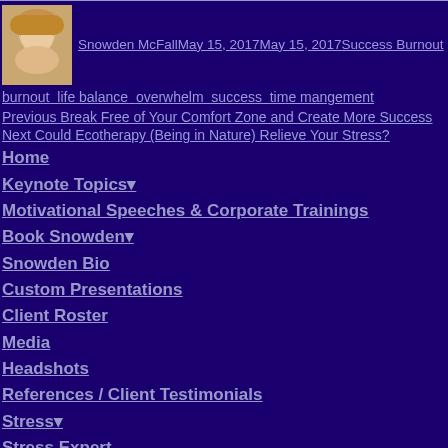Snowden McFall May 15, 2017 May 15, 2017 Success Burnout
burnout  life balance  overwhelm  success  time mangement
Previous Break Free of Your Comfort Zone and Create More Success
Next Could Ecotherapy (Being in Nature) Relieve Your Stress?
Home
Keynote Topics
Motivational Speeches & Corporate Trainings
Book Snowden
Snowden Bio
Custom Presentations
Client Roster
Media
Headshots
References / Client Testimonials
Stress
Stress Expert
Burnout Quiz
Stress Express Book
Women
Virtual
Online Speaking Success
Products
Motivational Products